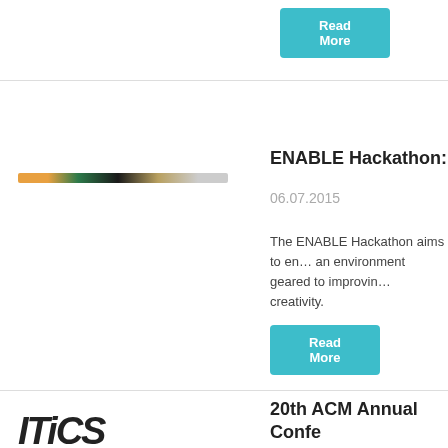Read More
[Figure (photo): Horizontal bar or pencil image for ENABLE Hackathon article]
ENABLE Hackathon: Tac…
06.07.2015
The ENABLE Hackathon aims to en… an environment geared to improvin… creativity.
Read More
[Figure (logo): ACM conference logo partially visible]
20th ACM Annual Confe… Science Education